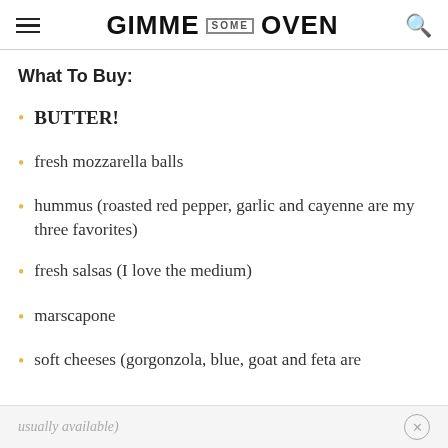GIMME SOME OVEN
What To Buy:
BUTTER!
fresh mozzarella balls
hummus (roasted red pepper, garlic and cayenne are my three favorites)
fresh salsas (I love the medium)
marscapone
soft cheeses (gorgonzola, blue, goat and feta are
usually available)